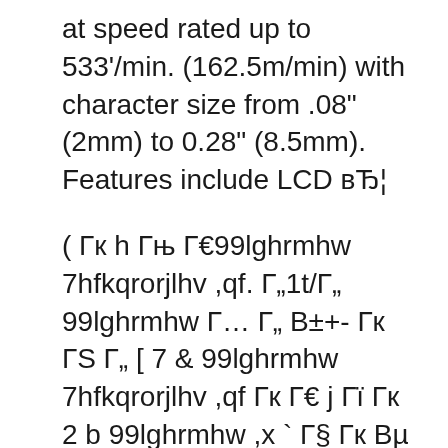at speed rated up to 533'/min. (162.5m/min) with character size from .08" (2mm) to 0.28" (8.5mm). Features include LCD вЂ¦
( Гк h Гњ Г€99lghrmhw 7hfkqrorjlhv ,qf. Г„1t/Г„ 99lghrmhw Г… Г„ В±+- Гк ГS Г„ [ 7 & 99lghrmhw 7hfkqrorjlhv ,qf Гк Г€ j Гї Гк 2 b 99lghrmhw ,x ` Г§ Гк Вµ с Г„ _ Гs4ВJ 99lghrmhw ,x :m6 a Г€ Г№/u 7Bs ГЎ Videojet 1210 Continuous Inkjet printer is variable data printing machine. Videojet 1210 Continuous Inkjet printer is engineered to keep line up and running for customers with simple coding needs like date printing & is ideal for food, beverage, chemical, pharmaceutical & personal